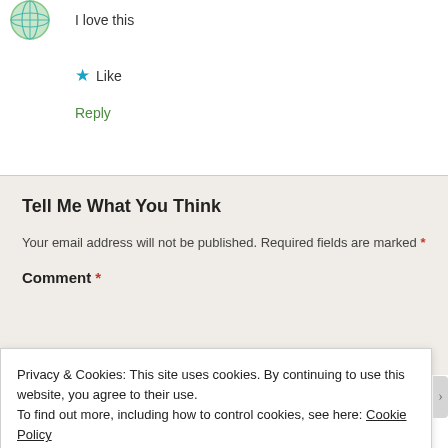[Figure (illustration): Circular avatar icon with green and teal globe-like design, partially cropped at top-left]
I love this
★ Like
Reply
Tell Me What You Think
Your email address will not be published. Required fields are marked *
Comment *
Privacy & Cookies: This site uses cookies. By continuing to use this website, you agree to their use.
To find out more, including how to control cookies, see here: Cookie Policy
Close and accept